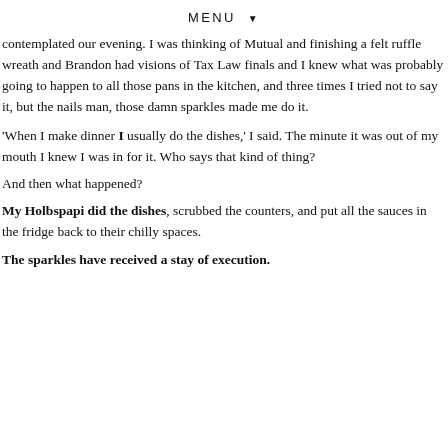MENU ▼
contemplated our evening. I was thinking of Mutual and finishing a felt ruffle wreath and Brandon had visions of Tax Law finals and I knew what was probably going to happen to all those pans in the kitchen, and three times I tried not to say it, but the nails man, those damn sparkles made me do it.
'When I make dinner I usually do the dishes,' I said. The minute it was out of my mouth I knew I was in for it. Who says that kind of thing?
And then what happened?
My Holbspapi did the dishes, scrubbed the counters, and put all the sauces in the fridge back to their chilly spaces.
The sparkles have received a stay of execution.